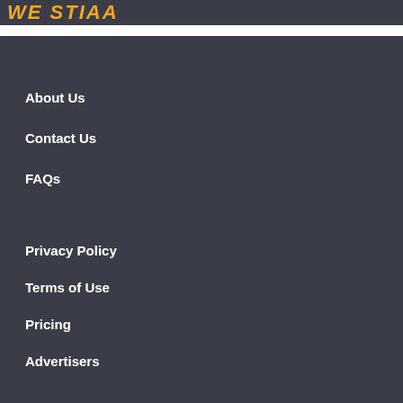WE STIAA
About Us
Contact Us
FAQs
Privacy Policy
Terms of Use
Pricing
Advertisers